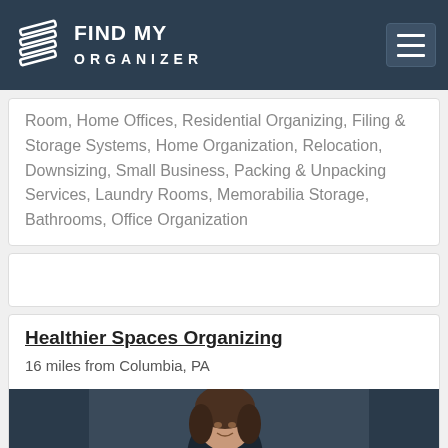FIND MY ORGANIZER
Room, Home Offices, Residential Organizing, Filing & Storage Systems, Home Organization, Relocation, Downsizing, Small Business, Packing & Unpacking Services, Laundry Rooms, Memorabilia Storage, Bathrooms, Office Organization
Healthier Spaces Organizing
16 miles from Columbia, PA
[Figure (photo): Photo of a smiling woman with dark wavy hair, wearing a black outfit, holding a book or document, against a dark blue background]